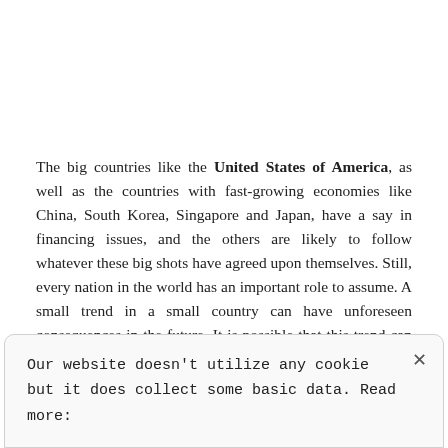The big countries like the United States of America, as well as the countries with fast-growing economies like China, South Korea, Singapore and Japan, have a say in financing issues, and the others are likely to follow whatever these big shots have agreed upon themselves. Still, every nation in the world has an important role to assume. A small trend in a small country can have unforeseen consequences in the future. It is possible that this trend can go even bigger and influence the behavior of other people.
Our website doesn't utilize any cookie but it does collect some basic data. Read more: